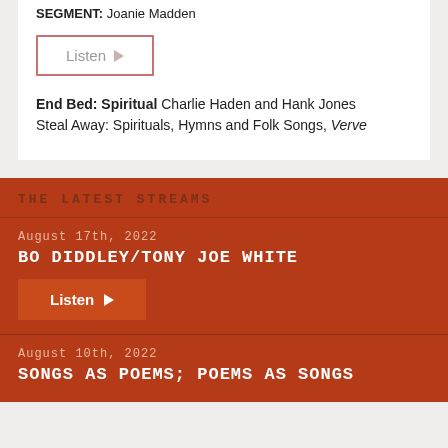SEGMENT: Joanie Madden
Listen
End Bed: Spiritual Charlie Haden and Hank Jones Steal Away: Spirituals, Hymns and Folk Songs, Verve
THE LATEST STREAMS
August 17th, 2022
BO DIDDLEY/TONY JOE WHITE
Listen
August 10th, 2022
SONGS AS POEMS; POEMS AS SONGS